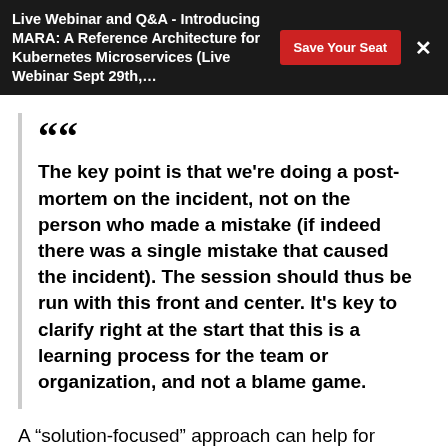Live Webinar and Q&A - Introducing MARA: A Reference Architecture for Kubernetes Microservices (Live Webinar Sept 29th,...
The key point is that we're doing a post-mortem on the incident, not on the person who made a mistake (if indeed there was a single mistake that caused the incident). The session should thus be run with this front and center. It's key to clarify right at the start that this is a learning process for the team or organization, and not a blame game.
A “solution-focused” approach can help for feedback to be received as relevant, appreciative, and helpful. In the article Facilitating Feedback That’s Psychologically Safe, Roy Marriot describes the ACE